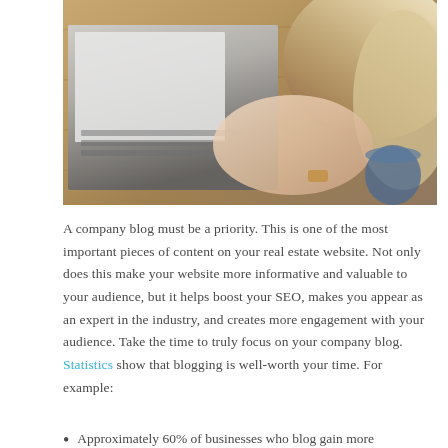[Figure (photo): A woman with long blonde hair typing on a laptop at a wooden table, wearing a watch and bracelets, viewed from above.]
A company blog must be a priority. This is one of the most important pieces of content on your real estate website. Not only does this make your website more informative and valuable to your audience, but it helps boost your SEO, makes you appear as an expert in the industry, and creates more engagement with your audience. Take the time to truly focus on your company blog. Statistics show that blogging is well-worth your time. For example:
Approximately 60% of businesses who blog gain more